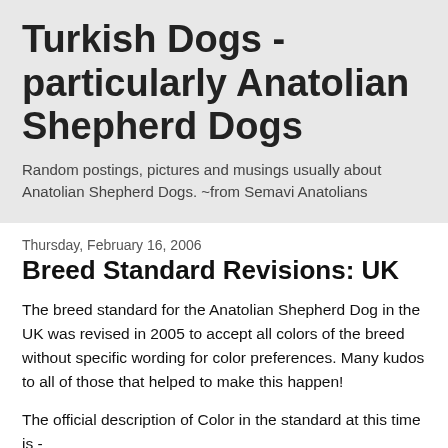Turkish Dogs - particularly Anatolian Shepherd Dogs
Random postings, pictures and musings usually about Anatolian Shepherd Dogs. ~from Semavi Anatolians
Thursday, February 16, 2006
Breed Standard Revisions: UK
The breed standard for the Anatolian Shepherd Dog in the UK was revised in 2005 to accept all colors of the breed without specific wording for color preferences. Many kudos to all of those that helped to make this happen!
The official description of Color in the standard at this time is -